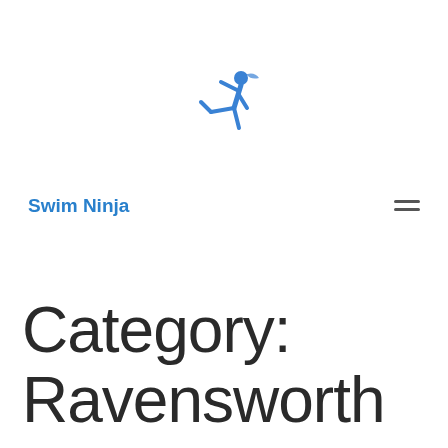[Figure (logo): Blue ninja/martial arts figure icon, jumping with a kick pose]
Swim Ninja
Category: Ravensworth